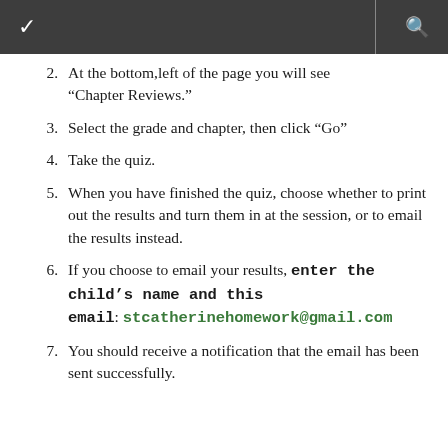2. At the bottom,left of the page you will see “Chapter Reviews.”
3. Select the grade and chapter, then click “Go”
4. Take the quiz.
5. When you have finished the quiz, choose whether to print out the results and turn them in at the session, or to email the results instead.
6. If you choose to email your results, enter the child’s name and this email: stcatherinehomework@gmail.com
7. You should receive a notification that the email has been sent successfully.